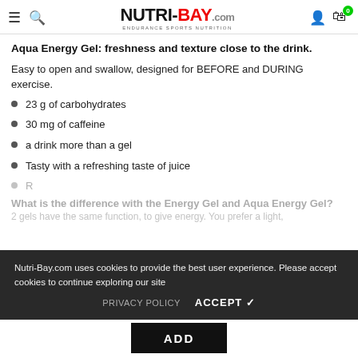NUTRI-BAY.com — ENDURANCE SPORTS NUTRITION
Aqua Energy Gel: freshness and texture close to the drink.
Easy to open and swallow, designed for BEFORE and DURING exercise.
23 g of carbohydrates
30 mg of caffeine
a drink more than a gel
Tasty with a refreshing taste of juice
Nutri-Bay.com uses cookies to provide the best user experience. Please accept cookies to continue exploring our site
What is the difference with the Energy Gel and Aqua Energy Gel?
2 gels have the same function, to give energy. You prefer a light,
PRIVACY POLICY    ACCEPT ✓
ADD